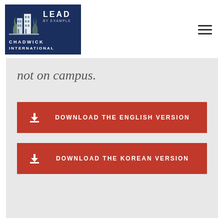[Figure (logo): Chadwick International school logo with building illustration, dark navy background, text CHADWICK INTERNATIONAL and LEAD BY EXAMPLE]
not on campus.
DOWNLOAD THE ENGLISH VERSION
DOWNLOAD THE KOREAN VERSION